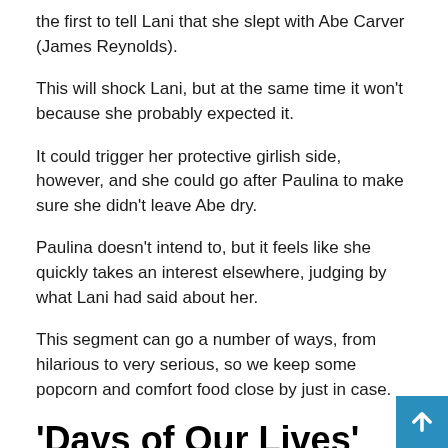the first to tell Lani that she slept with Abe Carver (James Reynolds).
This will shock Lani, but at the same time it won't because she probably expected it.
It could trigger her protective girlish side, however, and she could go after Paulina to make sure she didn't leave Abe dry.
Paulina doesn't intend to, but it feels like she quickly takes an interest elsewhere, judging by what Lani had said about her.
This segment can go a number of ways, from hilarious to very serious, so we keep some popcorn and comfort food close by just in case.
'Days of Our Lives' spoilers Wednesday June 23: Gwen and Xander are stuck